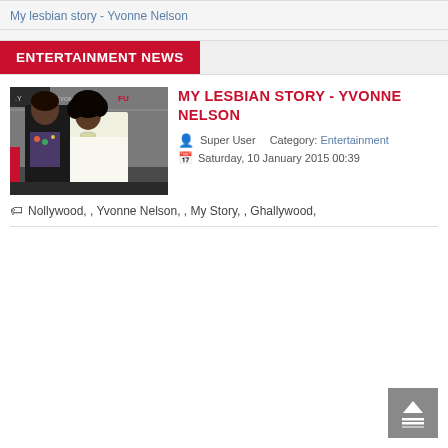My lesbian story - Yvonne Nelson
ENTERTAINMENT NEWS
MY LESBIAN STORY - YVONNE NELSON
[Figure (photo): Two women posing together at an event, backdrop with logos including .Y, BEYOND, and other event branding]
Super User   Category: Entertainment
Saturday, 10 January 2015 00:39
Nollywood, , Yvonne Nelson, , My Story, , Ghallywood,